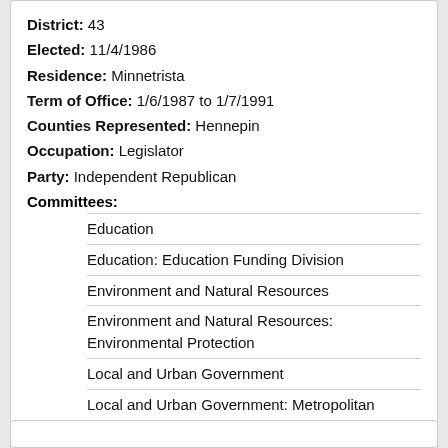District: 43
Elected: 11/4/1986
Residence: Minnetrista
Term of Office: 1/6/1987 to 1/7/1991
Counties Represented: Hennepin
Occupation: Legislator
Party: Independent Republican
Committees:
Education
Education: Education Funding Division
Environment and Natural Resources
Environment and Natural Resources: Environmental Protection
Local and Urban Government
Local and Urban Government: Metropolitan Government
Public Utilities and Energy
Public Utilities and Energy: Energy
Transportation: Safety
Leadership Position: Assistant Minority Leader